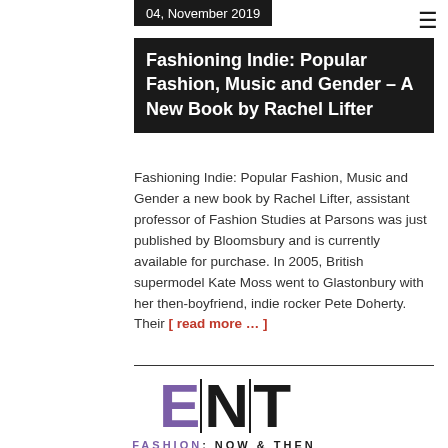04, November 2019
Fashioning Indie: Popular Fashion, Music and Gender – A New Book by Rachel Lifter
Fashioning Indie: Popular Fashion, Music and Gender a new book by Rachel Lifter, assistant professor of Fashion Studies at Parsons was just published by Bloomsbury and is currently available for purchase. In 2005, British supermodel Kate Moss went to Glastonbury with her then-boyfriend, indie rocker Pete Doherty. Their [ read more … ]
[Figure (logo): ENT Fashion: Now & Then logo — large stylized letters E, N, T with vertical dividers, in purple and black, with tagline FASHION: NOW & THEN below]